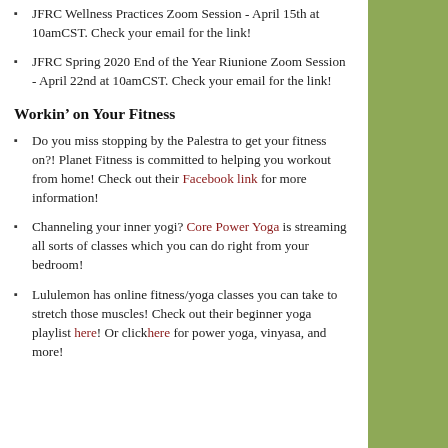JFRC Wellness Practices Zoom Session - April 15th at 10amCST. Check your email for the link!
JFRC Spring 2020 End of the Year Riunione Zoom Session - April 22nd at 10amCST. Check your email for the link!
Workin’ on Your Fitness
Do you miss stopping by the Palestra to get your fitness on?! Planet Fitness is committed to helping you workout from home! Check out their Facebook link for more information!
Channeling your inner yogi? Core Power Yoga is streaming all sorts of classes which you can do right from your bedroom!
Lululemon has online fitness/yoga classes you can take to stretch those muscles! Check out their beginner yoga playlist here! Or clickhere for power yoga, vinyasa, and more!